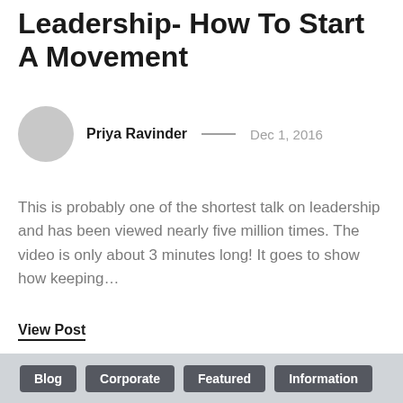Leadership- How To Start A Movement
Priya Ravinder — Dec 1, 2016
This is probably one of the shortest talk on leadership and has been viewed nearly five million times. The video is only about 3 minutes long! It goes to show how keeping…
View Post
Blog  Corporate  Featured  Information